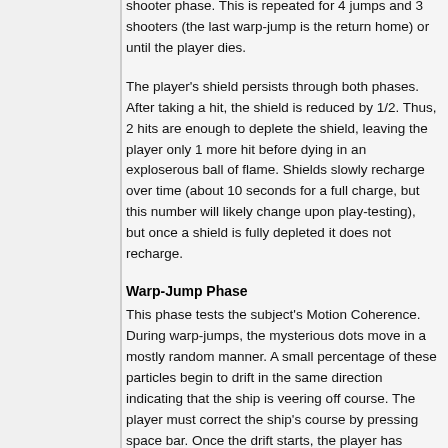shooter phase. This is repeated for 4 jumps and 3 shooters (the last warp-jump is the return home) or until the player dies.
The player's shield persists through both phases. After taking a hit, the shield is reduced by 1/2. Thus, 2 hits are enough to deplete the shield, leaving the player only 1 more hit before dying in an exploserous ball of flame. Shields slowly recharge over time (about 10 seconds for a full charge, but this number will likely change upon play-testing), but once a shield is fully depleted it does not recharge.
Warp-Jump Phase
This phase tests the subject's Motion Coherence. During warp-jumps, the mysterious dots move in a mostly random manner. A small percentage of these particles begin to drift in the same direction indicating that the ship is veering off course. The player must correct the ship's course by pressing space bar. Once the drift starts, the player has several seconds to